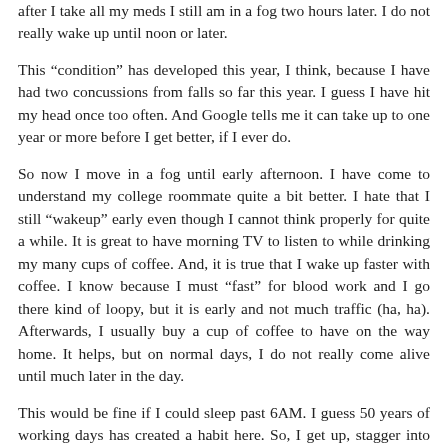after I take all my meds I still am in a fog two hours later. I do not really wake up until noon or later.
This “condition” has developed this year, I think, because I have had two concussions from falls so far this year. I guess I have hit my head once too often. And Google tells me it can take up to one year or more before I get better, if I ever do.
So now I move in a fog until early afternoon. I have come to understand my college roommate quite a bit better. I hate that I still “wakeup” early even though I cannot think properly for quite a while. It is great to have morning TV to listen to while drinking my many cups of coffee. And, it is true that I wake up faster with coffee. I know because I must “fast” for blood work and I go there kind of loopy, but it is early and not much traffic (ha, ha). Afterwards, I usually buy a cup of coffee to have on the way home. It helps, but on normal days, I do not really come alive until much later in the day.
This would be fine if I could sleep past 6AM. I guess 50 years of working days has created a habit here. So, I get up, stagger into the kitchen, make my coffee, and drink it all morning.  Usually after 3 to 4